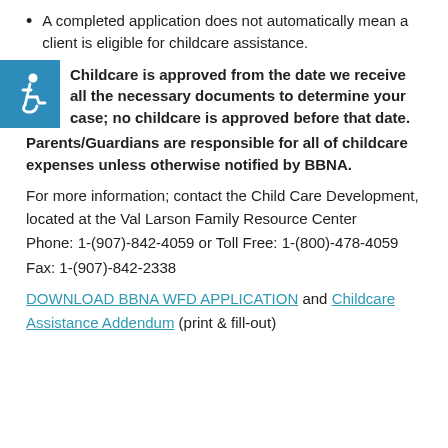A completed application does not automatically mean a client is eligible for childcare assistance.
Childcare is approved from the date we receive all the necessary documents to determine your case; no childcare is approved before that date. Parents/Guardians are responsible for all of childcare expenses unless otherwise notified by BBNA.
For more information; contact the Child Care Development, located at the Val Larson Family Resource Center
Phone: 1-(907)-842-4059 or Toll Free: 1-(800)-478-4059
Fax: 1-(907)-842-2338
DOWNLOAD BBNA WFD APPLICATION and Childcare Assistance Addendum (print & fill-out)